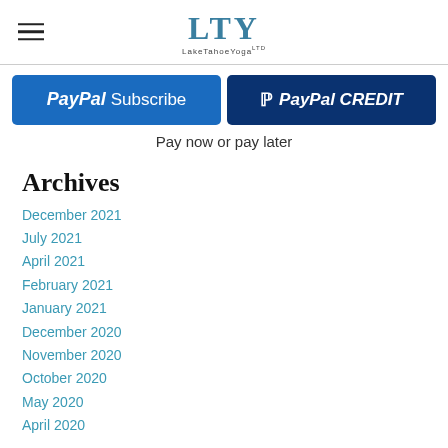LTY LakeTahoeYoga
[Figure (screenshot): PayPal Subscribe button (blue) and PayPal CREDIT button (dark navy blue) side by side]
Pay now or pay later
Archives
December 2021
July 2021
April 2021
February 2021
January 2021
December 2020
November 2020
October 2020
May 2020
April 2020